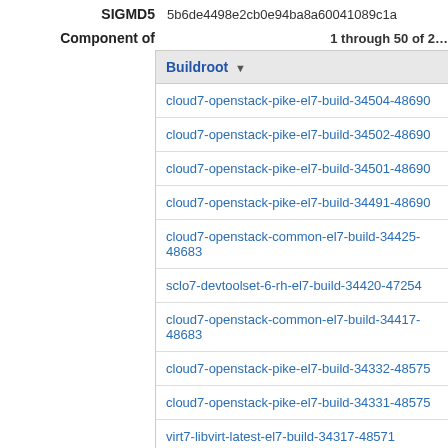SIGMD5   5b6de4498e2cb0e94ba8a60041089c1a
Component of   1 through 50 of 2...
| Buildroot |
| --- |
| cloud7-openstack-pike-el7-build-34504-48690 |
| cloud7-openstack-pike-el7-build-34502-48690 |
| cloud7-openstack-pike-el7-build-34501-48690 |
| cloud7-openstack-pike-el7-build-34491-48690 |
| cloud7-openstack-common-el7-build-34425-48683 |
| sclo7-devtoolset-6-rh-el7-build-34420-47254 |
| cloud7-openstack-common-el7-build-34417-48683 |
| cloud7-openstack-pike-el7-build-34332-48575 |
| cloud7-openstack-pike-el7-build-34331-48575 |
| virt7-libvirt-latest-el7-build-34317-48571 |
| virt7-libvirt-latest-el7-build-34229-48569 |
| virt7-libvirt-latest-el7-build-34225-48524 |
| virt7-libvirt-latest-el7-build-34219-48524 |